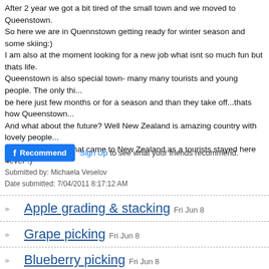After 2 year we got a bit tired of the small town and we moved to Queenstown. So here we are in Quennstown getting ready for winter season and some skiing:) I am also at the moment looking for a new job what isnt so much fun but thats life. Queenstown is also special town- many many tourists and young people. The only thing is people be here just few months or for a season and than they take off...thats how Queenstown works. And what about the future? Well New Zealand is amazing country with lovely people... how many people that came to New Zealand as a tourists stayed here 4ever :)
Recommend  Sign Up to see what your friends recommend.
Submitted by: Michaela Veselov
Date submitted: 7/04/2011 8:17:12 AM
Apple grading & stacking  Fri Jun 8
Grape picking  Fri Jun 8
Blueberry picking  Fri Jun 8
Hop work in Motueka  Tue May 16
Working as an apple packer in Motueka  Mon May S